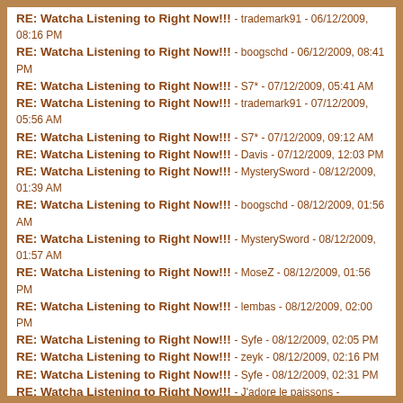RE: Watcha Listening to Right Now!!! - trademark91 - 06/12/2009, 08:16 PM
RE: Watcha Listening to Right Now!!! - boogschd - 06/12/2009, 08:41 PM
RE: Watcha Listening to Right Now!!! - S7* - 07/12/2009, 05:41 AM
RE: Watcha Listening to Right Now!!! - trademark91 - 07/12/2009, 05:56 AM
RE: Watcha Listening to Right Now!!! - S7* - 07/12/2009, 09:12 AM
RE: Watcha Listening to Right Now!!! - Davis - 07/12/2009, 12:03 PM
RE: Watcha Listening to Right Now!!! - MysterySword - 08/12/2009, 01:39 AM
RE: Watcha Listening to Right Now!!! - boogschd - 08/12/2009, 01:56 AM
RE: Watcha Listening to Right Now!!! - MysterySword - 08/12/2009, 01:57 AM
RE: Watcha Listening to Right Now!!! - MoseZ - 08/12/2009, 01:56 PM
RE: Watcha Listening to Right Now!!! - lembas - 08/12/2009, 02:00 PM
RE: Watcha Listening to Right Now!!! - Syfe - 08/12/2009, 02:05 PM
RE: Watcha Listening to Right Now!!! - zeyk - 08/12/2009, 02:16 PM
RE: Watcha Listening to Right Now!!! - Syfe - 08/12/2009, 02:31 PM
RE: Watcha Listening to Right Now!!! - J'adore le paissons - 08/12/2009, 04:34 PM
RE: Watcha Listening to Right Now!!! - lembas - 08/12/2009, 04:52 PM
RE: Watcha Listening to Right Now!!! - MysterySword - 08/12/2009,